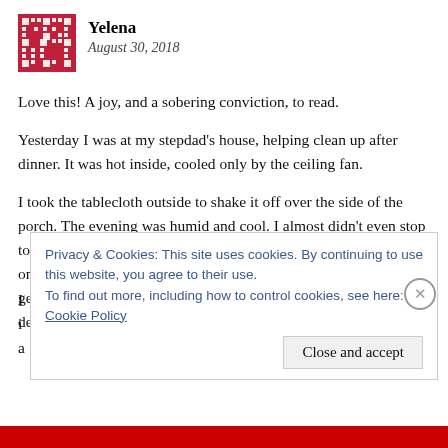[Figure (illustration): Red and white geometric avatar icon (decorative mosaic/tile pattern)]
Yelena
August 30, 2018
Love this! A joy, and a sobering conviction, to read.
Yesterday I was at my stepdad’s house, helping clean up after dinner. It was hot inside, cooled only by the ceiling fan.
I took the tablecloth outside to shake it off over the side of the porch. The evening was humid and cool. I almost didn’t even stop to take a breath of that beautiful fresh air, so keenly was I focused on getting things cleaned up and finished for the night. But a gentle sense of “wait, hold on…” took hold of me, and I inhaled deeply, and the air was wondrous sweet.
Privacy & Cookies: This site uses cookies. By continuing to use this website, you agree to their use.
To find out more, including how to control cookies, see here:
Cookie Policy
Close and accept